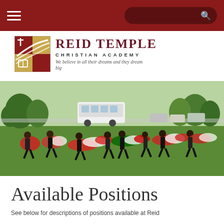Reid Temple Christian Academy navigation header with hamburger menu and search bar
[Figure (logo): Reid Temple Christian Academy logo with emblem and text: REID TEMPLE CHRISTIAN ACADEMY, We believe in all their dreams and they dream big]
[Figure (photo): Children running outdoors on grass holding colorful flags from various nations, with a white bus and trees in the background]
Available Positions
See below for descriptions of positions available at Reid